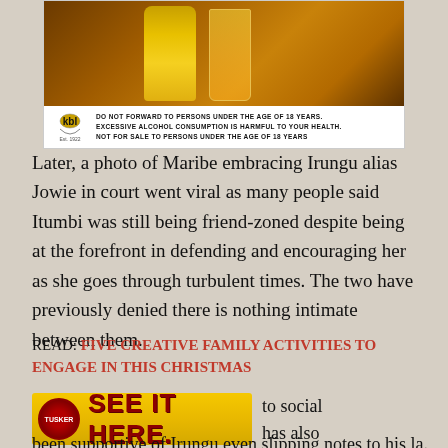[Figure (photo): KBL advertisement showing a beer bottle and glass on a wooden background, with KBL logo and underage drinking warning text below.]
Later, a photo of Maribe embracing Irungu alias Jowie in court went viral as many people said Itumbi was still being friend-zoned despite being at the forefront in defending and encouraging her as she goes through turbulent times. The two have previously denied there is nothing intimate between them.
READ: FIVE CREATIVE FAMILY ACTIVITIES TO ENGAGE IN THIS CHRISTMAS
[Figure (photo): Tusker beer advertisement banner with orange/gold background showing Tusker logo and text 'SEE IT HERE.']
to social has also been supportive of Irungu even slipping notes to his la...